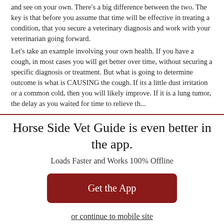and see on your own. There's a big difference between the two. The key is that before you assume that time will be effective in treating a condition, that you secure a veterinary diagnosis and work with your veterinarian going forward.

Let's take an example involving your own health. If you have a cough, in most cases you will get better over time, without securing a specific diagnosis or treatment. But what is going to determine outcome is what is CAUSING the cough. If its a little dust irritation or a common cold, then you will likely improve. If it is a lung tumor, the delay as you waited for time to relieve th...
Horse Side Vet Guide is even better in the app.
Loads Faster and Works 100% Offline
Get the App
or continue to mobile site